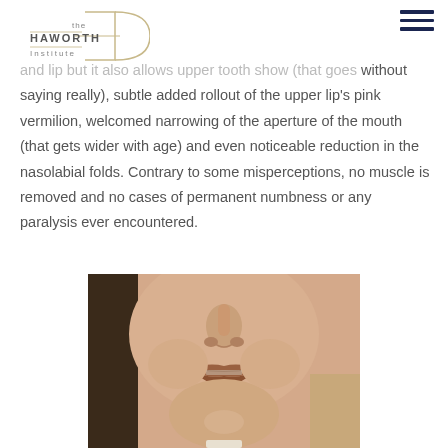the Haworth Institute
and lip but it also allows upper tooth show (that goes without saying really), subtle added rollout of the upper lip's pink vermilion, welcomed narrowing of the aperture of the mouth (that gets wider with age) and even noticeable reduction in the nasolabial folds. Contrary to some misperceptions, no muscle is removed and no cases of permanent numbness or any paralysis ever encountered.
[Figure (photo): Close-up front-facing photo of a woman's lower face showing her lips, nose, and chin area, demonstrating results of a lip procedure.]